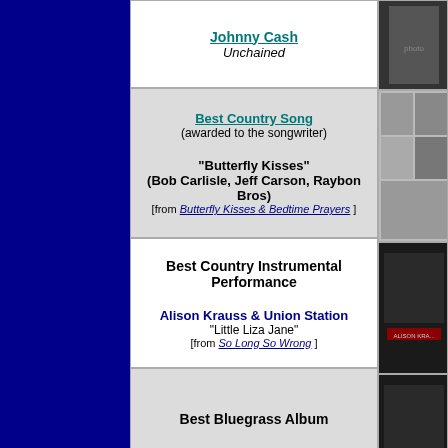Johnny Cash
Unchained
Best Country Song
(awarded to the songwriter)
"Butterfly Kisses"
(Bob Carlisle, Jeff Carson, Raybon Bros)
[from Butterfly Kisses & Bedtime Prayers]
Best Country Instrumental Performance
Alison Krauss & Union Station
"Little Liza Jane"
[from So Long So Wrong]
Best Bluegrass Album
Alison Krauss & Union Station
So Long So Wrong
Best Rock Song
(awarded to the songwriter)